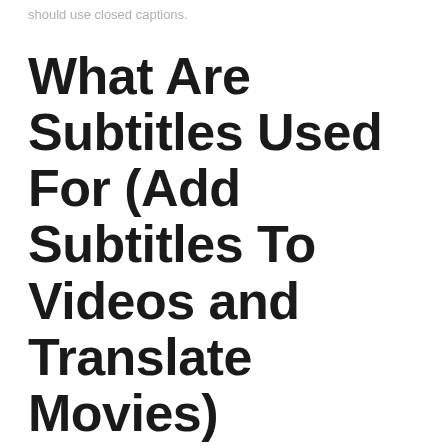should use closed captions.
What Are Subtitles Used For (Add Subtitles To Videos and Translate Movies)